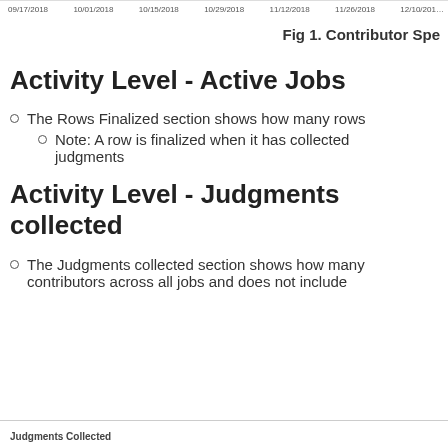09/17/2018  10/01/2018  10/15/2018  10/29/2018  11/12/2018  11/26/2018  12/10/2018
Fig 1. Contributor Spe
Activity Level - Active Jobs
The Rows Finalized section shows how many rows
Note: A row is finalized when it has collected judgments
Activity Level - Judgments collected
The Judgments collected section shows how many contributors across all jobs and does not include
Judgments Collected